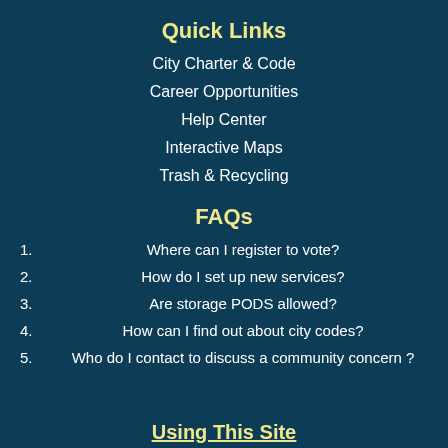Quick Links
City Charter & Code
Career Opportunities
Help Center
Interactive Maps
Trash & Recycling
FAQs
1. Where can I register to vote?
2. How do I set up new services?
3. Are storage PODS allowed?
4. How can I find out about city codes?
5. Who do I contact to discuss a community concern ?
Using This Site